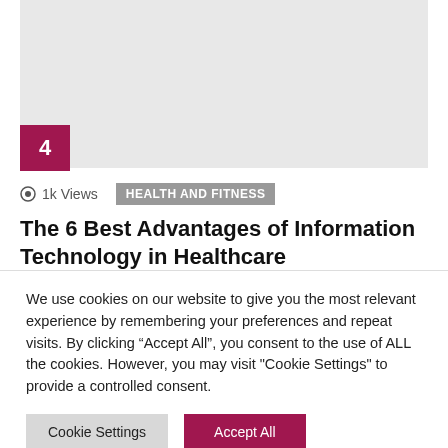[Figure (photo): Gray placeholder image area for article thumbnail]
4
1k Views
HEALTH AND FITNESS
The 6 Best Advantages of Information Technology in Healthcare
We use cookies on our website to give you the most relevant experience by remembering your preferences and repeat visits. By clicking “Accept All”, you consent to the use of ALL the cookies. However, you may visit "Cookie Settings" to provide a controlled consent.
Cookie Settings
Accept All